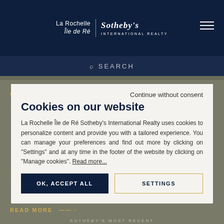La Rochelle Île de Ré | Sotheby's International Realty
Continue without consent
Cookies on our website
La Rochelle Île de Ré Sotheby's International Realty uses cookies to personalize content and provide you with a tailored experience. You can manage your preferences and find out more by clicking on "Settings" and at any time in the footer of the website by clicking on "Manage cookies". Read more...
OK, ACCEPT ALL
SETTINGS
READ MORE →